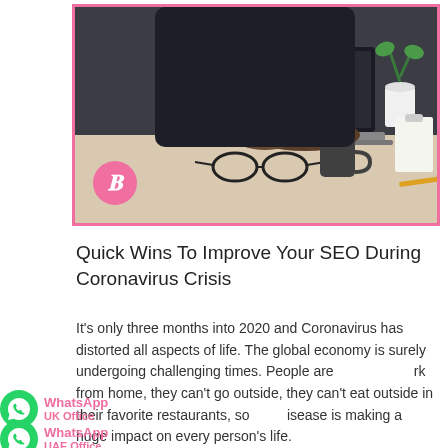[Figure (photo): Person typing on a laptop at a desk with glasses and a mug in the foreground, dark moody office setting. Pink border around image with a pink B logo circle in the lower left.]
Quick Wins To Improve Your SEO During Coronavirus Crisis
It's only three months into 2020 and Coronavirus has distorted all aspects of life. The global economy is surely undergoing challenging times. People are forced to work from home, they can't go outside, they can't eat outside in their favorite restaurants, so this disease is making a huge impact on every person's life.